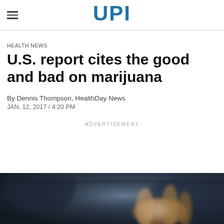UPI
HEALTH NEWS
U.S. report cites the good and bad on marijuana
By Dennis Thompson, HealthDay News
JAN. 12, 2017 / 4:20 PM
ADVERTISEMENT
[Figure (photo): Close-up dark-toned photograph, appears to show hands or fingers in dim lighting with blurred background]